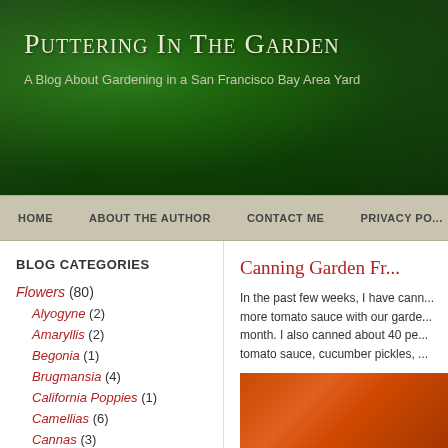Puttering In The Garden
A Blog About Gardening in a San Francisco Bay Area Yard
HOME | ABOUT THE AUTHOR | CONTACT ME | PRIVACY PO...
BLOG CATEGORIES
Flowers (80)
Alyogyne (2)
Amaryllis (2)
Begonia (1)
Brugmansia (4)
California Poppies (1)
Camellias (6)
Cannas (3)
Canning Garden Fr...
In the past few weeks, I have cann... more tomato sauce with our garde... month. I also canned about 40 pe... tomato sauce, cucumber pickles, ...
[Figure (photo): Wooden surface with warm orange-brown tones, appears to be a cutting board or wooden shelf]